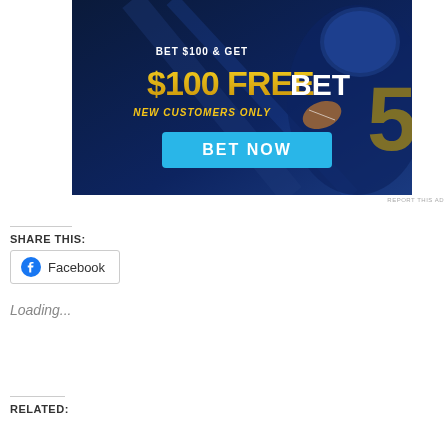[Figure (screenshot): Sports betting advertisement: 'BET $100 & GET $100 FREE BET - NEW CUSTOMERS ONLY' with a 'BET NOW' blue button. Dark blue background with football player image.]
REPORT THIS AD
SHARE THIS:
[Figure (other): Facebook share button with Facebook logo icon]
Loading...
RELATED: